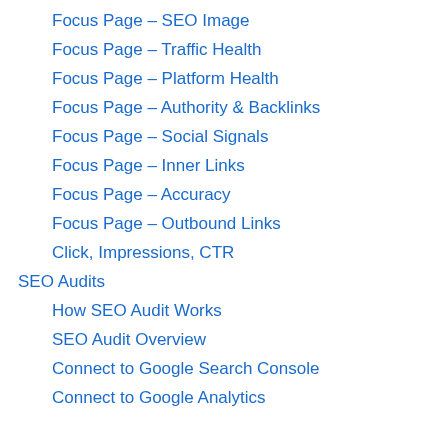Focus Page – SEO Image
Focus Page – Traffic Health
Focus Page – Platform Health
Focus Page – Authority & Backlinks
Focus Page – Social Signals
Focus Page – Inner Links
Focus Page – Accuracy
Focus Page – Outbound Links
Click, Impressions, CTR
SEO Audits
How SEO Audit Works
SEO Audit Overview
Connect to Google Search Console
Connect to Google Analytics